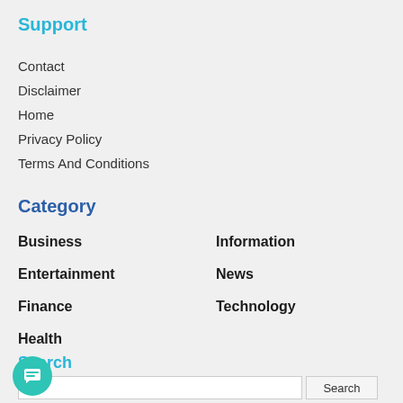Support
Contact
Disclaimer
Home
Privacy Policy
Terms And Conditions
Category
Business
Entertainment
Finance
Health
Information
News
Technology
Search